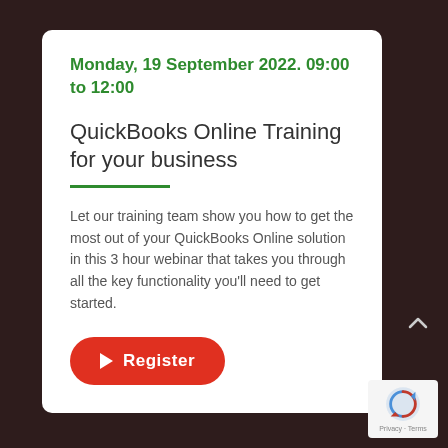Monday, 19 September 2022. 09:00 to 12:00
QuickBooks Online Training for your business
Let our training team show you how to get the most out of your QuickBooks Online solution in this 3 hour webinar that takes you through all the key functionality you'll need to get started.
Register